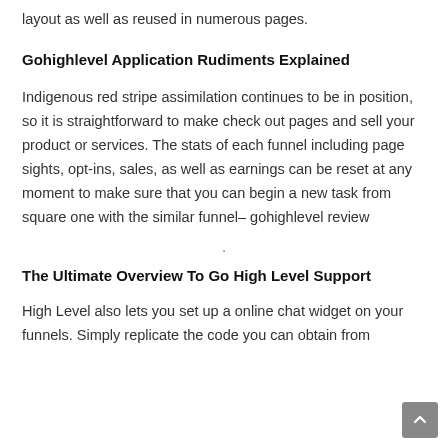layout as well as reused in numerous pages.
Gohighlevel Application Rudiments Explained
Indigenous red stripe assimilation continues to be in position, so it is straightforward to make check out pages and sell your product or services. The stats of each funnel including page sights, opt-ins, sales, as well as earnings can be reset at any moment to make sure that you can begin a new task from square one with the similar funnel– gohighlevel review
The Ultimate Overview To Go High Level Support
High Level also lets you set up a online chat widget on your funnels. Simply replicate the code you can obtain from